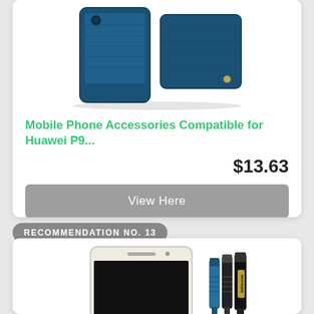[Figure (photo): Blue leather wallet phone case for Huawei P9, shown from two angles against white background]
Mobile Phone Accessories Compatible for Huawei P9...
$13.63
View Here
RECOMMENDATION NO. 13
[Figure (photo): Gold smartphone with black screen shown alongside screwdriver/pry tool kit with blue and black tools and adhesive label]